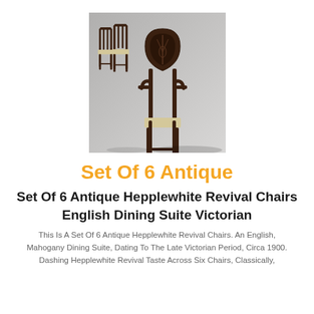[Figure (photo): Photo of a set of antique Hepplewhite Revival dining chairs, showing dark mahogany chairs with shield-shaped carved backs and upholstered seats, displayed on a grey gradient background.]
Set Of 6 Antique
Set Of 6 Antique Hepplewhite Revival Chairs English Dining Suite Victorian
This Is A Set Of 6 Antique Hepplewhite Revival Chairs. An English, Mahogany Dining Suite, Dating To The Late Victorian Period, Circa 1900. Dashing Hepplewhite Revival Taste Across Six Chairs, Classically,